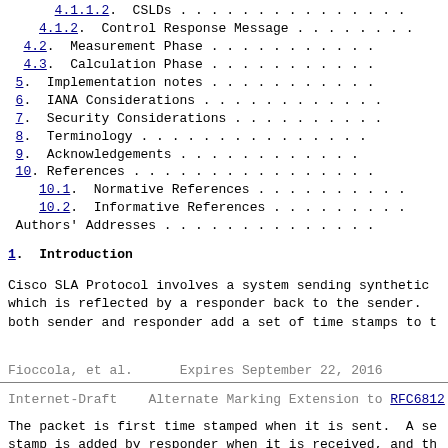4.1.1.2. CSLDs . . . . . . . . . . . . . . . . .
4.1.2. Control Response Message . . . . . . . . .
4.2. Measurement Phase . . . . . . . . . . . . . .
4.3. Calculation Phase . . . . . . . . . . . . . .
5. Implementation notes . . . . . . . . . . . . .
6. IANA Considerations . . . . . . . . . . . . . .
7. Security Considerations . . . . . . . . . . . .
8. Terminology . . . . . . . . . . . . . . . . . .
9. Acknowledgements . . . . . . . . . . . . . . .
10. References . . . . . . . . . . . . . . . . . .
10.1. Normative References . . . . . . . . . . . .
10.2. Informative References . . . . . . . . . . .
Authors' Addresses . . . . . . . . . . . . . . . .
1. Introduction
Cisco SLA Protocol involves a system sending synthetic which is reflected by a responder back to the sender. both sender and responder add a set of time stamps to t
Fioccola, et al.      Expires September 22, 2016
Internet-Draft    Alternate Marking Extension to RFC6812
The packet is first time stamped when it is sent.  A se stamp is added by responder when it is received, and th